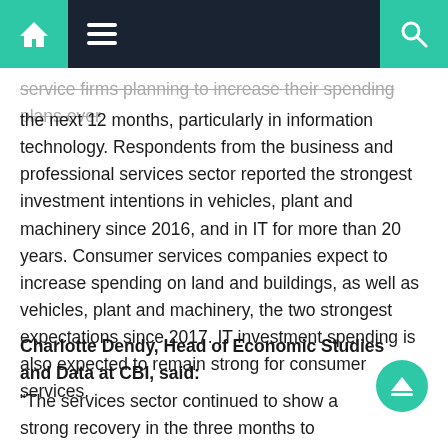[navigation bar with home, menu, and search icons]
service firms planning to increase their spending plans over the next 12 months, particularly in information technology. Respondents from the business and professional services sector reported the strongest investment intentions in vehicles, plant and machinery since 2016, and in IT for more than 20 years. Consumer services companies expect to increase spending on land and buildings, as well as vehicles, plant and machinery, the two strongest expectations since 2017. IT investment spending is also expected to remain strong for consumer services.
Charlotte Dendy, Head of Economic Studies and Data at CBI, said:
“The services sector continued to show a strong recovery in the three months to November, with volumes, profits and employment all posting solid growth.